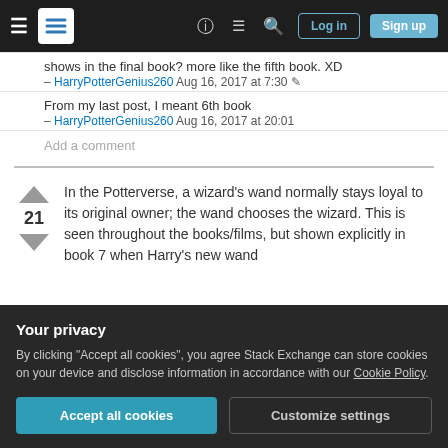Stack Exchange navigation bar with Log in and Sign up buttons
shows in the final book? more like the fifth book. XD
– HarryPotterGenius260 Aug 16, 2017 at 7:30
From my last post, I meant 6th book
– HarryPotterGenius260 Aug 16, 2017 at 20:01
Add a comment
In the Potterverse, a wizard's wand normally stays loyal to its original owner; the wand chooses the wizard. This is seen throughout the books/films, but shown explicitly in book 7 when Harry's new wand
Your privacy
By clicking "Accept all cookies", you agree Stack Exchange can store cookies on your device and disclose information in accordance with our Cookie Policy.
Accept all cookies   Customize settings
behaves much better for Harry because he